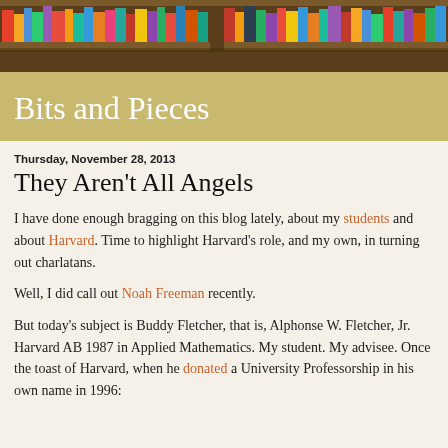[Figure (photo): Colorful bookshelf photo used as page header/banner image]
Bits and Pieces
Thursday, November 28, 2013
They Aren't All Angels
I have done enough bragging on this blog lately, about my students and about Harvard. Time to highlight Harvard's role, and my own, in turning out charlatans.
Well, I did call out Noah Freeman recently.
But today's subject is Buddy Fletcher, that is, Alphonse W. Fletcher, Jr. Harvard AB 1987 in Applied Mathematics. My student. My advisee. Once the toast of Harvard, when he donated a University Professorship in his own name in 1996: